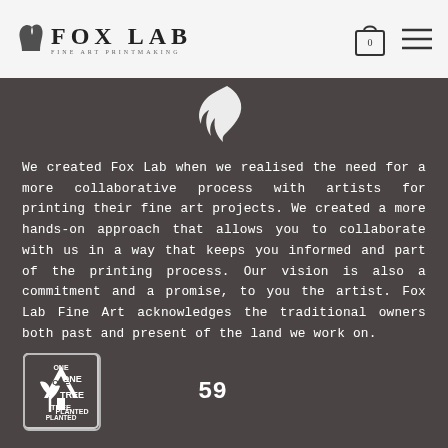FOX LAB FINE ART PRINTMAKING
[Figure (logo): Fox Lab Fine Art Printmaking logo with fox silhouette and text, plus shopping bag icon with 0 and hamburger menu icon in header]
[Figure (logo): White Fox Lab fox silhouette logo on dark background]
We created Fox Lab when we realised the need for a more collaborative process with artists for printing their fine art projects. We created a more hands-on approach that allows you to collaborate with us in a way that keeps you informed and part of the printing process. Our vision is also a commitment and a promise, to you the artist. Fox Lab Fine Art acknowledges the traditional owners both past and present of the land we work on.
[Figure (logo): One Tree Planted badge/logo with tree icon and text ONE TREE PLANTED, followed by number 59]